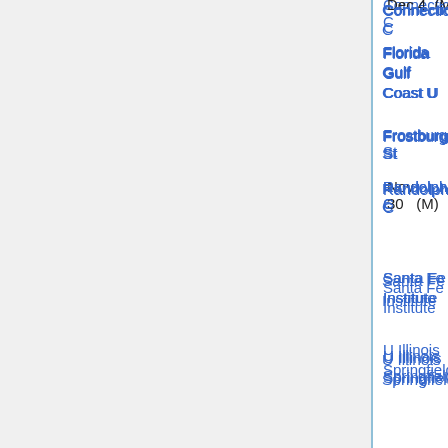Connecticut C — Dec 4 (M)
Florida Gulf Coast U
Frostburg St
Randolph C — Nov 30 (M)
Santa Fe Institute
U Illinois Springfield
U Mary Washington
U Michigan 🔒* — Nov 1
U Oregon 🔒* — Feb 20
U Oregon 🔒* — Feb 20
U Wisconsin, Milwaukee 🔒* — Sep 19
Williams C 🔒*
Wright St